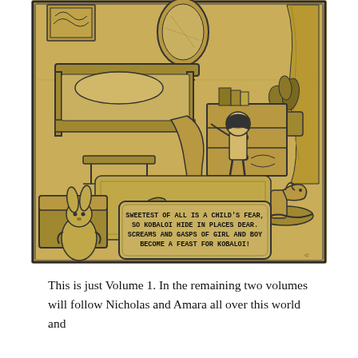[Figure (illustration): A sepia/yellow-toned comic illustration of a child's bedroom. A young girl sits on top of a chest of drawers near a bed. The room is filled with toys including a stuffed bunny, a rocking horse, a toy chest, slippers, a ball, and a doll on the floor. A mirror hangs on the wall. A text box in the lower portion reads: 'SWEETEST OF ALL IS A CHILD'S FEAR, SO KOBALOI HIDE IN PLACES DEAR. SCREAMS AND GASPS OF GIRL AND BOY BECOME A FEAST FOR KOBALOI!']
This is just Volume 1. In the remaining two volumes will follow Nicholas and Amara all over this world and